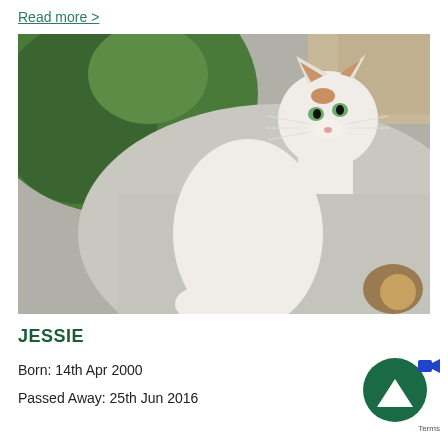Read more >
[Figure (photo): A white and orange cat standing on hind legs on a concrete surface, looking upward. Green grass visible in the background on the left, gravel/dirt area on the upper right.]
JESSIE
Born: 14th Apr 2000
Passed Away: 25th Jun 2016